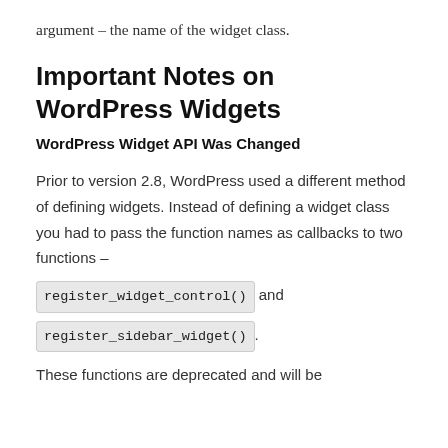argument – the name of the widget class.
Important Notes on WordPress Widgets
WordPress Widget API Was Changed
Prior to version 2.8, WordPress used a different method of defining widgets. Instead of defining a widget class you had to pass the function names as callbacks to two functions –
register_widget_control() and register_sidebar_widget().
These functions are deprecated and will be